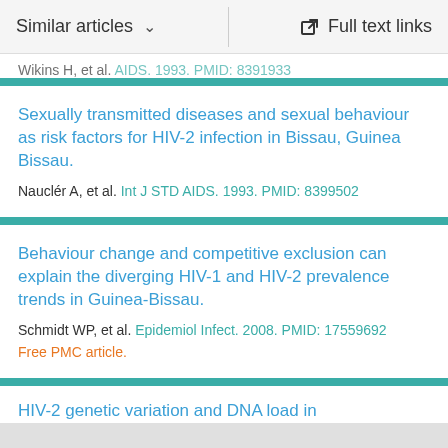Similar articles  ∨  |  Full text links
Wikins H, et al. AIDS. 1993. PMID: 8391933
Sexually transmitted diseases and sexual behaviour as risk factors for HIV-2 infection in Bissau, Guinea Bissau.
Nauclér A, et al. Int J STD AIDS. 1993. PMID: 8399502
Behaviour change and competitive exclusion can explain the diverging HIV-1 and HIV-2 prevalence trends in Guinea-Bissau.
Schmidt WP, et al. Epidemiol Infect. 2008. PMID: 17559692
Free PMC article.
HIV-2 genetic variation and DNA load in